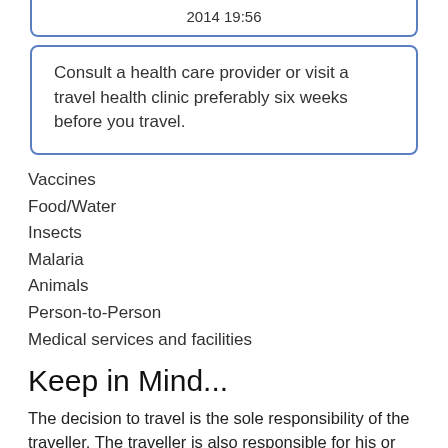2014 19:56
Consult a health care provider or visit a travel health clinic preferably six weeks before you travel.
Vaccines
Food/Water
Insects
Malaria
Animals
Person-to-Person
Medical services and facilities
Keep in Mind...
The decision to travel is the sole responsibility of the traveller. The traveller is also responsible for his or her own personal safety.
Be prepared. Do not expect medical services to be the same as in Canada. Pack a travel health kit, especially if